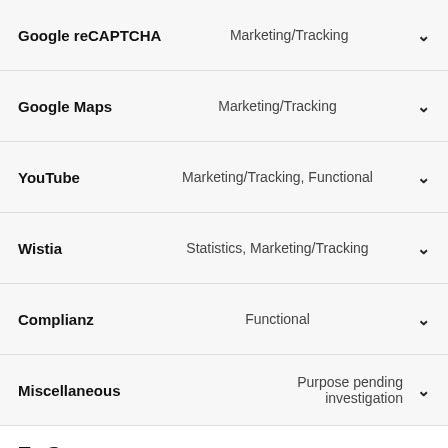Google reCAPTCHA — Marketing/Tracking
Google Maps — Marketing/Tracking
YouTube — Marketing/Tracking, Functional
Wistia — Statistics, Marketing/Tracking
Complianz — Functional
Miscellaneous — Purpose pending investigation
7. Consent
When you visit our website for the first time, we will show you a pop-up with an explanation about cookies. As soon as you click on "Save preferences", you consent to us using the categories of cookies and plug-ins you selected in the pop-